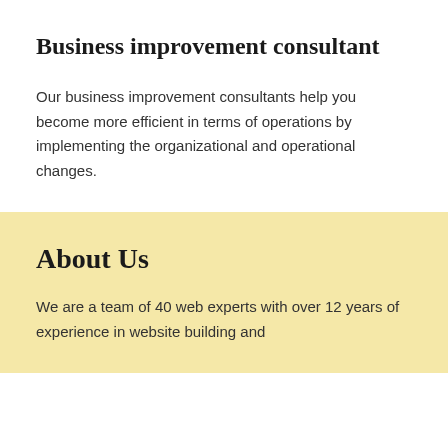Business improvement consultant
Our business improvement consultants help you become more efficient in terms of operations by implementing the organizational and operational changes.
About Us
We are a team of 40 web experts with over 12 years of experience in website building and